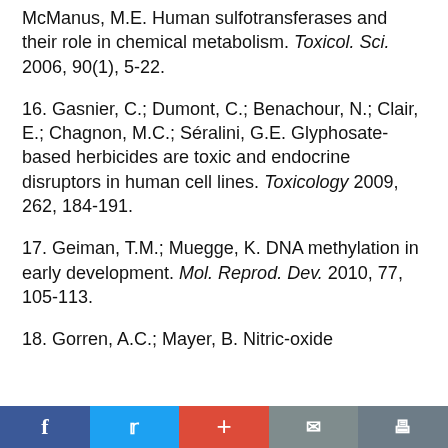McManus, M.E. Human sulfotransferases and their role in chemical metabolism. Toxicol. Sci. 2006, 90(1), 5-22.
16. Gasnier, C.; Dumont, C.; Benachour, N.; Clair, E.; Chagnon, M.C.; Séralini, G.E. Glyphosate-based herbicides are toxic and endocrine disruptors in human cell lines. Toxicology 2009, 262, 184-191.
17. Geiman, T.M.; Muegge, K. DNA methylation in early development. Mol. Reprod. Dev. 2010, 77, 105-113.
18. Gorren, A.C.; Mayer, B. Nitric-oxide
Facebook | Twitter | + | Email | Print